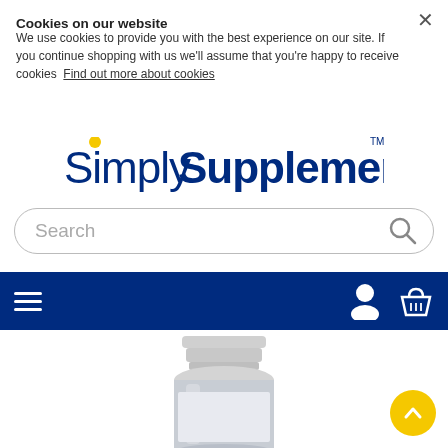Cookies on our website
We use cookies to provide you with the best experience on our site. If you continue shopping with us we'll assume that you're happy to receive cookies  Find out more about cookies
[Figure (logo): SimplySupplements logo in dark navy blue with a yellow dot accent and TM trademark symbol]
[Figure (screenshot): Search bar with placeholder text 'Search' and magnifying glass icon, rounded rectangle style]
[Figure (screenshot): Dark navy navigation bar with hamburger menu icon on left and user account and basket icons on right]
[Figure (photo): Supplement product bottle, white/grey plastic bottle with cap, partially visible at bottom of page]